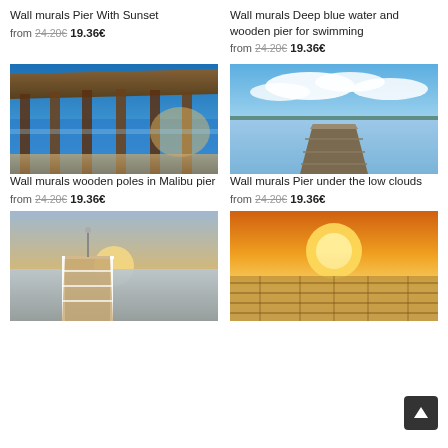Wall murals Pier With Sunset
from 24.20€ 19.36€
Wall murals Deep blue water and wooden pier for swimming
from 24.20€ 19.36€
[Figure (photo): Wooden pier with pillars from below at sunset, Malibu]
[Figure (photo): Wooden dock extending into calm blue water under cloudy sky]
Wall murals wooden poles in Malibu pier
from 24.20€ 19.36€
Wall murals Pier under the low clouds
from 24.20€ 19.36€
[Figure (photo): Long white wooden pier extending into water at golden hour sunset]
[Figure (photo): Wooden pier at dramatic orange sunset with mist]